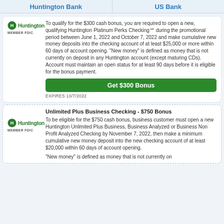Huntington Bank | US Bank
[Figure (logo): Huntington bank logo with green icon and MEMBER FDIC text]
To qualify for the $300 cash bonus, you are required to open a new, qualifying Huntington Platinum Perks Checking℠ during the promotional period between June 1, 2022 and October 7, 2022 and make cumulative new money deposits into the checking account of at least $25,000 or more within 60 days of account opening. "New money" is defined as money that is not currently on deposit in any Huntington account (except maturing CDs). Account must maintain an open status for at least 90 days before it is eligible for the bonus payment.
Get $300 Bonus
EXPIRES 10/7/2022
Unlimited Plus Business Checking - $750 Bonus
[Figure (logo): Huntington bank logo with green icon and MEMBER FDIC text]
To be eligible for the $750 cash bonus, business customer must open a new Huntington Unlimited Plus Business, Business Analyzed or Business Non Profit Analyzed Checking by November 7, 2022, then make a minimum cumulative new money deposit into the new checking account of at least $20,000 within 60 days of account opening.
"New money" is defined as money that is not currently on